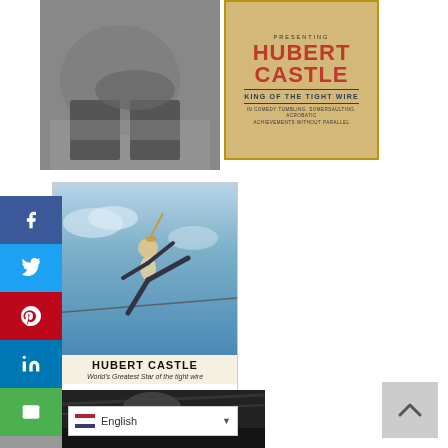[Figure (photo): Black and white vintage photo showing feet/boots standing in hay or grass with a wheel visible]
[Figure (illustration): Vintage promotional poster for Hubert Castle, King of the Tight Wire, in comedy tumbling, somersaulting, acrobatic achievements without parallel. Yellow/tan background with red and dark text.]
[Figure (illustration): Blue-tinted promotional card showing Hubert Castle performing on the tight wire, leaping in the air. Text below reads HUBERT CASTLE World's Greatest Star of the tight wire]
[Figure (photo): Black and white photo of a man (Hubert Castle) performing, bottom portion of page]
[Figure (screenshot): Social media sharing sidebar with Facebook, Twitter, Pinterest, LinkedIn, Email, and Print buttons on the left side]
[Figure (screenshot): Language selector showing English with a flag icon and dropdown arrow, and a back-to-top button in lower right]